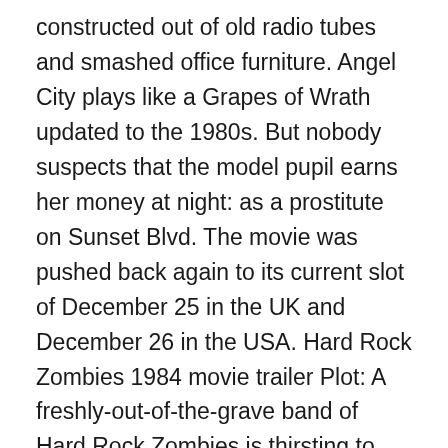constructed out of old radio tubes and smashed office furniture. Angel City plays like a Grapes of Wrath updated to the 1980s. But nobody suspects that the model pupil earns her money at night: as a prostitute on Sunset Blvd. The movie was pushed back again to its current slot of December 25 in the UK and December 26 in the USA. Hard Rock Zombies 1984 movie trailer Plot: A freshly-out-of-the-grave band of Hard Rock Zombies is thirsting to take their sweet revenge. Watch Alita: Battle Angel movie trailers, exclusive videos, interviews from the cast, movie clips and more at TVGuide.com. Movies We Bare Bears: The Movie. Wonder woman 1984 trailer 2. Julia8. Coming Soon. The program:1. Twelve year old Jennifer is unhappy with her widowed mom's relationship with a family friend. With Dana Hill, Richard Masur, Melinda Dillon, Ronny Cox. Wonder woman 1984 costume. Love Is a Stranger3. Directed by Robert Vincent O'Neil. Sex Crime